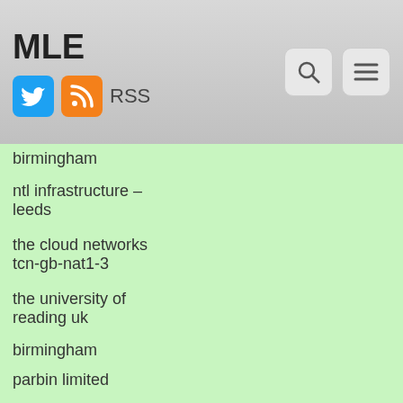MLE
| Name | Count |
| --- | --- |
| birmingham | 47 |
| ntl infrastructure – leeds | 47 |
| the cloud networks tcn-gb-nat1-3 | 47 |
| the university of reading uk | 47 |
| birmingham | 44 |
| parbin limited | 44 |
| wightfibre limited | 44 |
| eclipse dynamic adsl pool | 42 |
| research machines plc | 42 |
| southampton solent university | 42 |
| university of birmingham | 42 |